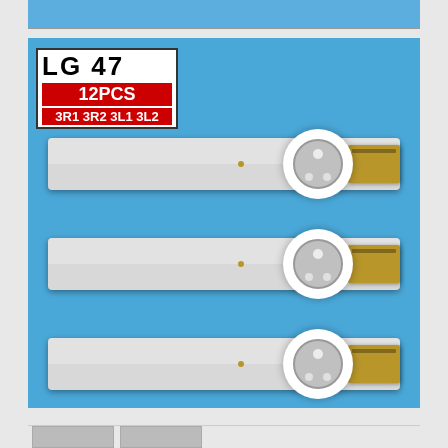[Figure (photo): Product listing image showing LG 47 LED backlight strips (12PCS: 3R1 3R2 3L1 3L2). Three white LED strips with circular lens and gold connector ends are shown on a blue background. A label in the top-left corner reads 'LG 47', '12PCS', '3R1 3R2 3L1 3L2'.]